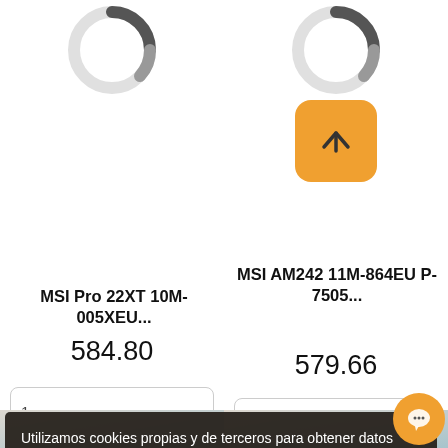[Figure (screenshot): Loading spinner ring for left product (MSI Pro 22XT)]
[Figure (screenshot): Loading spinner ring for right product (MSI AM242) with orange scroll-to-top button beneath]
MSI Pro 22XT 10M-005XEU...
MSI AM242 11M-864EU P-7505...
584.80
579.66
1
Utilizamos cookies propias y de terceros para obtener datos estadísticos de la navegación de nuestros usuarios y mejorar nuestros servicios. Si acepta o continúa navegando, consideramos que acepta su uso.
ACEPTAR ✓
[Figure (screenshot): Chat support bubble button (orange circle with chat icon) in bottom-right corner]